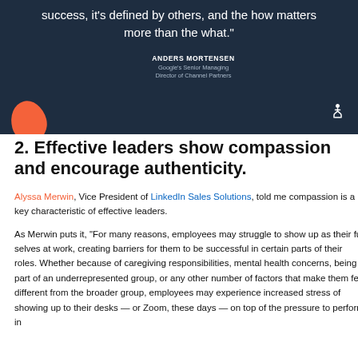[Figure (illustration): Dark navy blue banner with white quote text ending in 'success, it’s defined by others, and the how matters more than the what.”', attributed to ANDERS MORTENSEN, Google’s Senior Managing Director of Channel Partners. An orange blob shape is in the lower-left corner and a HubSpot logo in the lower-right.]
2. Effective leaders show compassion and encourage authenticity.
Alyssa Merwin, Vice President of LinkedIn Sales Solutions, told me compassion is a key characteristic of effective leaders.
As Merwin puts it, “For many reasons, employees may struggle to show up as their full selves at work, creating barriers for them to be successful in certain parts of their roles. Whether because of caregiving responsibilities, mental health concerns, being part of an underrepresented group, or any other number of factors that make them feel different from the broader group, employees may experience increased stress of showing up to their desks — or Zoom, these days — on top of the pressure to perform in